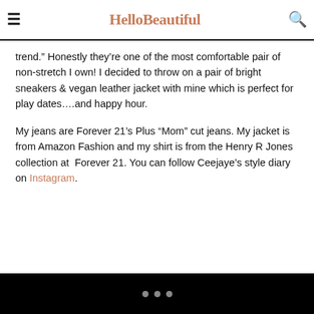HelloBeautiful
trend.” Honestly they’re one of the most comfortable pair of non-stretch I own! I decided to throw on a pair of bright sneakers & vegan leather jacket with mine which is perfect for play dates….and happy hour.
My jeans are Forever 21’s Plus “Mom” cut jeans. My jacket is from Amazon Fashion and my shirt is from the Henry R Jones collection at Forever 21. You can follow Ceejaye’s style diary on Instagram.